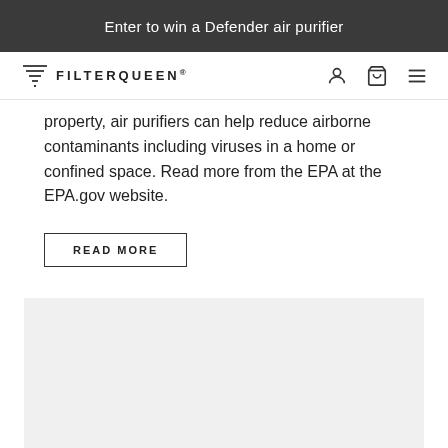Enter to win a Defender air purifier
[Figure (logo): FilterQueen logo with funnel icon and text FILTERQUEEN]
property, air purifiers can help reduce airborne contaminants including viruses in a home or confined space. Read more from the EPA at the EPA.gov website.
READ MORE
[Figure (photo): Large gray placeholder image area]